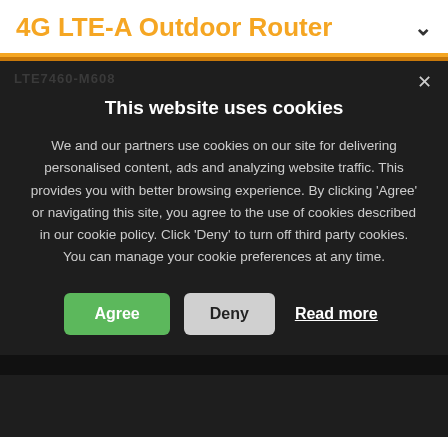4G LTE-A Outdoor Router
This website uses cookies
We and our partners use cookies on our site for delivering personalised content, ads and analyzing website traffic. This provides you with better browsing experience. By clicking 'Agree' or navigating this site, you agree to the use of cookies described in our cookie policy. Click 'Deny' to turn off third party cookies. You can manage your cookie preferences at any time.
Agree
Deny
Read more